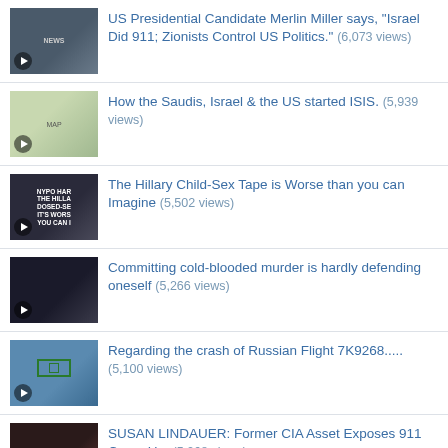US Presidential Candidate Merlin Miller says, "Israel Did 911; Zionists Control US Politics." (6,073 views)
How the Saudis, Israel & the US started ISIS. (5,939 views)
The Hillary Child-Sex Tape is Worse than you can Imagine (5,502 views)
Committing cold-blooded murder is hardly defending oneself (5,266 views)
Regarding the crash of Russian Flight 7K9268..... (5,100 views)
SUSAN LINDAUER: Former CIA Asset Exposes 911 Cover Up. (5,068 views)
San Bernardino victims daughter exposes her mother to be a fake & shooters' family attorney speaks out (5,017 views)